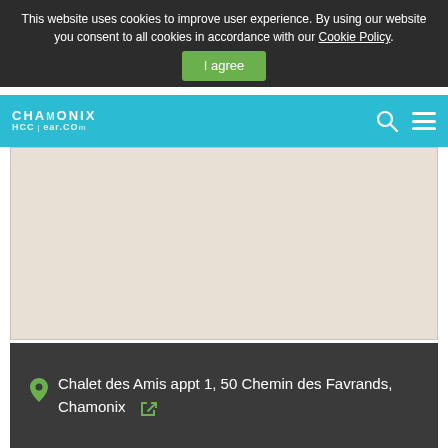This website uses cookies to improve user experience. By using our website you consent to all cookies in accordance with our Cookie Policy.
I agree
[Figure (screenshot): Website navigation bar with Chamonix HCC logo in white on cyan background, search icon and hamburger menu on the right]
[Figure (map): Light beige/tan map area showing a location map for Chamonix]
Chalet des Amis appt 1, 50 Chemin des Favrands, Chamonix